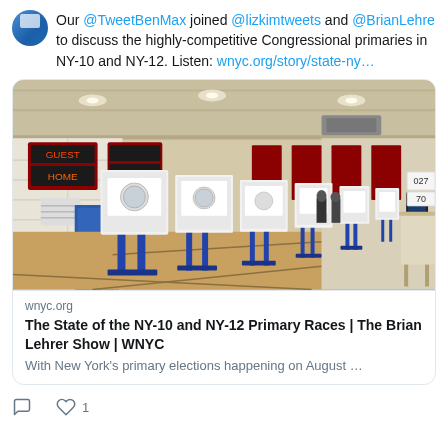Our @TweetBenMax joined @lizkimtweets and @BrianLehre to discuss the highly-competitive Congressional primaries in NY-10 and NY-12. Listen: wnyc.org/story/state-ny…
[Figure (photo): Interior of a gymnasium converted into a voting polling place, showing rows of white voting booths on blue stands extending into the distance, with red scoreboards and banners on the walls, wooden floor, and a few voters/poll workers visible in the background.]
wnyc.org
The State of the NY-10 and NY-12 Primary Races | The Brian Lehrer Show | WNYC
With New York's primary elections happening on August …